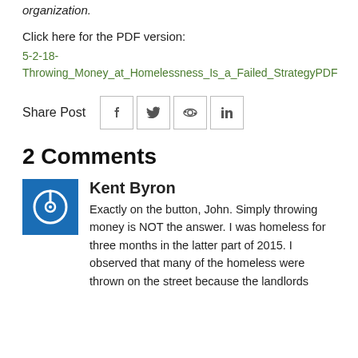organization.
Click here for the PDF version:
5-2-18-Throwing_Money_at_Homelessness_Is_a_Failed_StrategyPDF
Share Post
2 Comments
Kent Byron
Exactly on the button, John. Simply throwing money is NOT the answer. I was homeless for three months in the latter part of 2015. I observed that many of the homeless were thrown on the street because the landlords